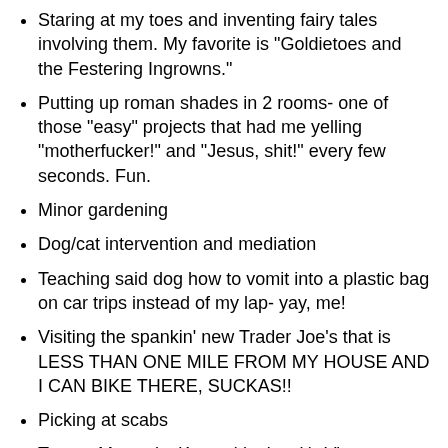Staring at my toes and inventing fairy tales involving them. My favorite is "Goldietoes and the Festering Ingrowns."
Putting up roman shades in 2 rooms- one of those "easy" projects that had me yelling "motherfucker!" and "Jesus, shit!" every few seconds. Fun.
Minor gardening
Dog/cat intervention and mediation
Teaching said dog how to vomit into a plastic bag on car trips instead of my lap- yay, me!
Visiting the spankin' new Trader Joe's that is LESS THAN ONE MILE FROM MY HOUSE AND I CAN BIKE THERE, SUCKAS!!
Picking at scabs
Target, Menards, Kmart (don't ask), Vintage furniture shopping, Farmer's market, and internet shopping.
Applying for the corner hooker's position as